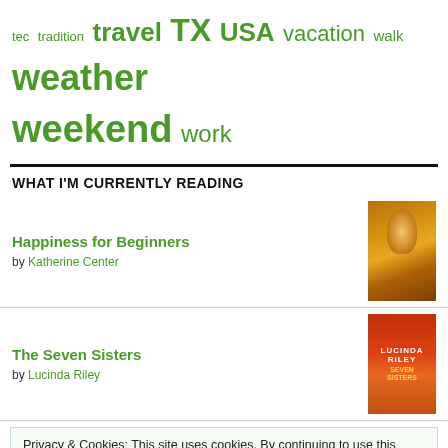tec tradition travel TX USA vacation walk weather weekend work
WHAT I'M CURRENTLY READING
Happiness for Beginners by Katherine Center
The Seven Sisters by Lucinda Riley
Privacy & Cookies: This site uses cookies. By continuing to use this website, you agree to their use. To find out more, including how to control cookies, see here: Cookie Policy
Close and accept